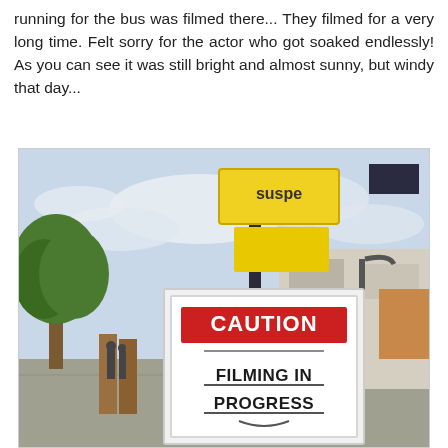running for the bus was filmed there... They filmed for a very long time. Felt sorry for the actor who got soaked endlessly! As you can see it was still bright and almost sunny, but windy that day...
[Figure (photo): Outdoor street photo showing a 'CAUTION FILMING IN PROGRESS' sign in the foreground, a yellow bus stop sign partially visible above, trees on the left, and buildings in the background under a cloudy sky.]